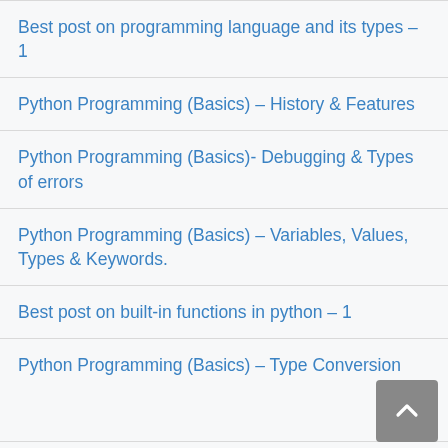Best post on programming language and its types – 1
Python Programming (Basics) – History & Features
Python Programming (Basics)- Debugging & Types of errors
Python Programming (Basics) – Variables, Values, Types & Keywords.
Best post on built-in functions in python – 1
Python Programming (Basics) – Type Conversion
Python Programming (Basics) – Comments Indentation Built-in Number